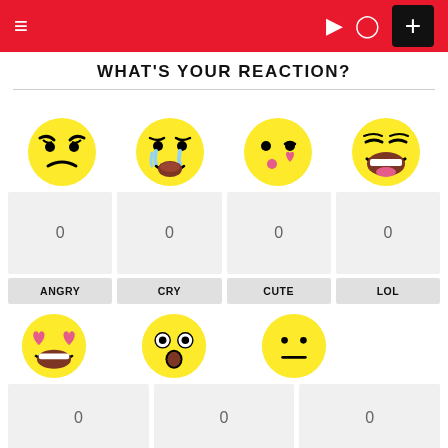≡  ) ✦  +
WHAT'S YOUR REACTION?
[Figure (infographic): Grid of emoji reaction buttons with counts. Row 1: angry face, loudly crying face, kiss face, laughing face — each showing count 0 and labels ANGRY, CRY, CUTE, LOL. Row 2: heart eyes face, flushed/shocked face, neutral face — each showing count 0.]